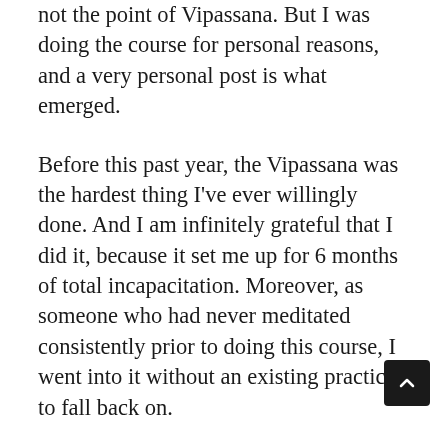not the point of Vipassana. But I was doing the course for personal reasons, and a very personal post is what emerged.
Before this past year, the Vipassana was the hardest thing I've ever willingly done. And I am infinitely grateful that I did it, because it set me up for 6 months of total incapacitation. Moreover, as someone who had never meditated consistently prior to doing this course, I went into it without an existing practice to fall back on.
During the months of bedrest following the lumbar puncture, people asked if I was bored. I really wasn't. I spent a lot of my time meditating, and especially after the 4th patch in January –